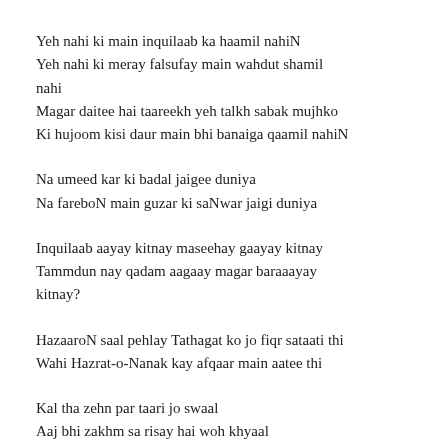Yeh nahi ki main inquilaab ka haamil nahiN
Yeh nahi ki meray falsufay main wahdut shamil nahi
Magar daitee hai taareekh yeh talkh sabak mujhko
Ki hujoom kisi daur main bhi banaiga qaamil nahiN
Na umeed kar ki badal jaigee duniya
Na fareboN main guzar ki saNwar jaigi duniya
Inquilaab aayay kitnay maseehay gaayay kitnay
Tammdun nay qadam aagaay magar baraaayay kitnay?
HazaaroN saal pehlay Tathagat ko jo fiqr sataati thi
Wahi Hazrat-o-Nanak kay afqaar main aatee thi
Kal tha zehn par taari jo swaal
Aaj bhi zakhm sa risay hai woh khyaal